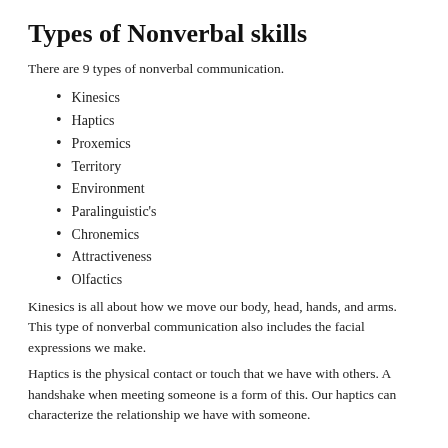Types of Nonverbal skills
There are 9 types of nonverbal communication.
Kinesics
Haptics
Proxemics
Territory
Environment
Paralinguistic's
Chronemics
Attractiveness
Olfactics
Kinesics is all about how we move our body, head, hands, and arms. This type of nonverbal communication also includes the facial expressions we make.
Haptics is the physical contact or touch that we have with others. A handshake when meeting someone is a form of this. Our haptics can characterize the relationship we have with someone.